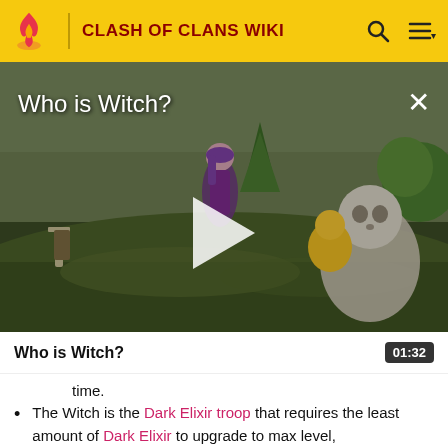CLASH OF CLANS WIKI
[Figure (screenshot): Video thumbnail for 'Who is Witch?' showing a Clash of Clans animated scene with a purple-haired Witch character, a skeleton, and colorful game characters on a green field. A white play button triangle is centered on the image. A close (X) button is at top right. Title 'Who is Witch?' appears in white text at top left.]
Who is Witch?
01:32
time.
The Witch is the Dark Elixir troop that requires the least amount of Dark Elixir to upgrade to max level,
with 555,000 Dark Elixir needed to upgrade her from